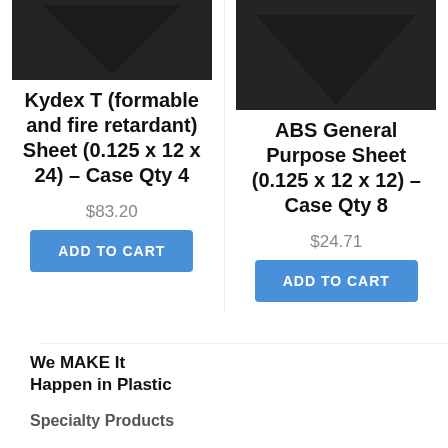[Figure (photo): Top portion of a dark/black foam or plastic sheet product, left column, partially cropped at top]
[Figure (photo): Top portion of a dark/black foam or plastic sheet product, right column, partially cropped at top]
Kydex T (formable and fire retardant) Sheet (0.125 x 12 x 24) – Case Qty 4
ABS General Purpose Sheet (0.125 x 12 x 12) – Case Qty 8
$83.20
$24.71
ADD TO CART
ADD TO CART
We MAKE It Happen in Plastic
Specialty Products